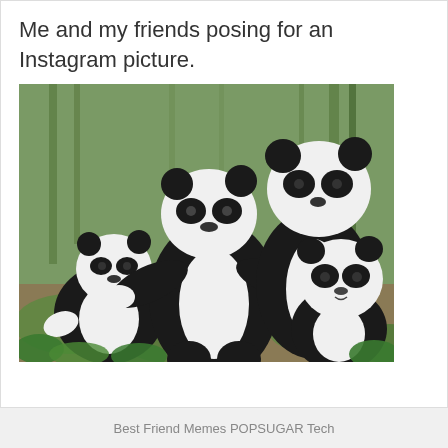Me and my friends posing for an Instagram picture.
[Figure (photo): Three giant pandas in a natural outdoor setting with bamboo and greenery. One large panda stands in a wide pose with arms outstretched, a smaller panda is partially visible on the left, and another panda sits on the right looking at the camera.]
Best Friend Memes POPSUGAR Tech